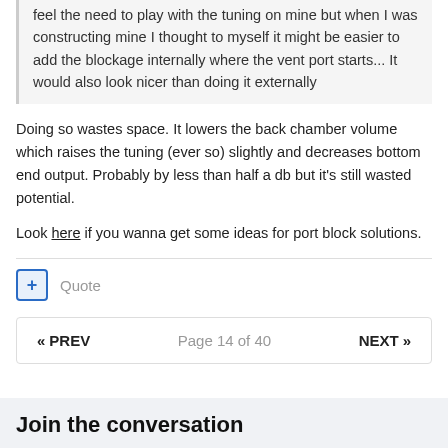feel the need to play with the tuning on mine but when I was constructing mine I thought to myself it might be easier to add the blockage internally where the vent port starts... It would also look nicer than doing it externally
Doing so wastes space. It lowers the back chamber volume which raises the tuning (ever so) slightly and decreases bottom end output. Probably by less than half a db but it's still wasted potential.
Look here if you wanna get some ideas for port block solutions.
Quote
« PREV   Page 14 of 40   NEXT »
Join the conversation